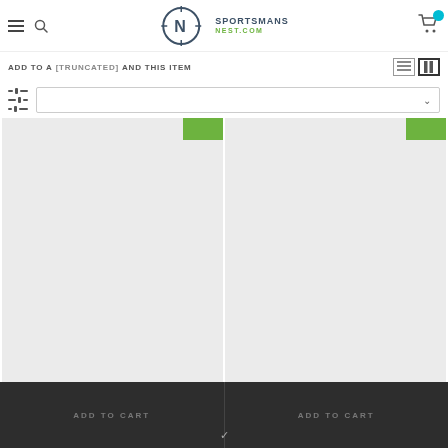[Figure (screenshot): Sportsmans Nest website logo with crosshair/compass N icon, text SPORTSMANS NEST.COM in dark slate and green]
ADD TO A [truncated] AND THIS ITEM
ADD TO CART (left product card button)
ADD TO CART (right product card button)